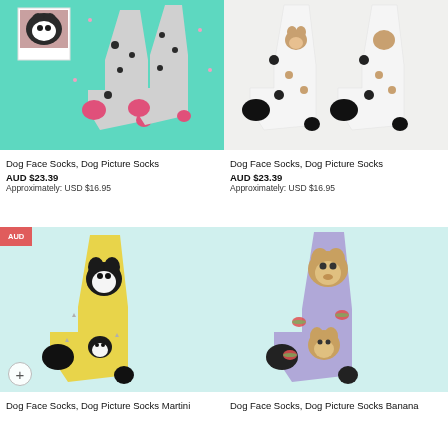[Figure (photo): Dog face socks with dog face pattern on mint green background, top-left product]
Dog Face Socks, Dog Picture Socks
AUD $23.39
Approximately: USD $16.95
[Figure (photo): Dog face socks with dalmatian/dog pattern on white background, top-right product]
Dog Face Socks, Dog Picture Socks
AUD $23.39
Approximately: USD $16.95
[Figure (photo): Dog Face Socks Martini on yellow background, bottom-left product with AUD badge and plus button]
Dog Face Socks, Dog Picture Socks Martini
[Figure (photo): Dog Face Socks Banana on purple/lavender background, bottom-right product]
Dog Face Socks, Dog Picture Socks Banana